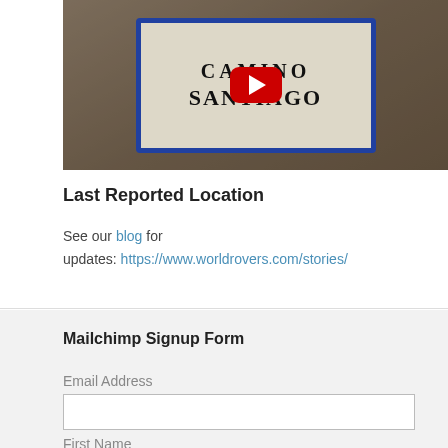[Figure (screenshot): YouTube video thumbnail showing a decorative tile sign reading CAMINO SANTIAGO with a YouTube play button overlay, set against a stone background]
Last Reported Location
See our blog for updates: https://www.worldrovers.com/stories/
Mailchimp Signup Form
Email Address
First Name